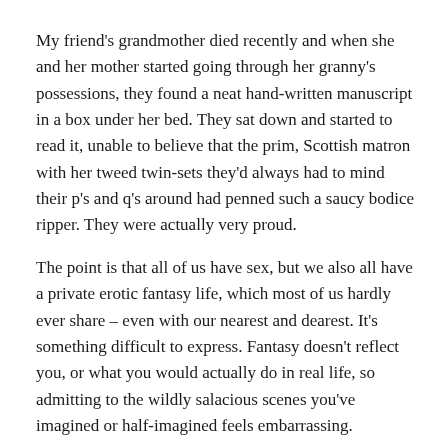My friend's grandmother died recently and when she and her mother started going through her granny's possessions, they found a neat hand-written manuscript in a box under her bed. They sat down and started to read it, unable to believe that the prim, Scottish matron with her tweed twin-sets they'd always had to mind their p's and q's around had penned such a saucy bodice ripper. They were actually very proud.
The point is that all of us have sex, but we also all have a private erotic fantasy life, which most of us hardly ever share – even with our nearest and dearest. It's something difficult to express. Fantasy doesn't reflect you, or what you would actually do in real life, so admitting to the wildly salacious scenes you've imagined or half-imagined feels embarrassing.